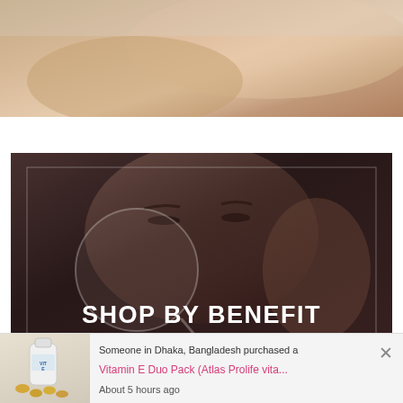[Figure (photo): Close-up of skin tones in warm beige/tan colors, partial body image at top of page]
[Figure (photo): Dark-toned banner image of a woman touching her face with eyes closed, with a magnifier circle overlay and white inner border frame]
SHOP BY BENEFIT
[Figure (photo): Vitamin E supplement product photo showing white bottle and golden capsules]
Someone in Dhaka, Bangladesh purchased a
Vitamin E Duo Pack (Atlas Prolife vita...
About 5 hours ago